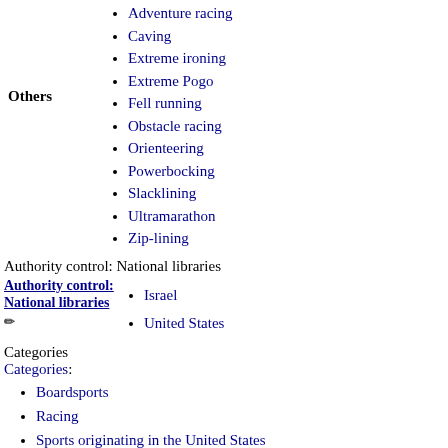Adventure racing
Caving
Extreme ironing
Extreme Pogo
Fell running
Obstacle racing
Orienteering
Powerbocking
Slacklining
Ultramarathon
Zip-lining
Authority control: National libraries
Israel
United States
Categories
Categories:
Boardsports
Racing
Sports originating in the United States